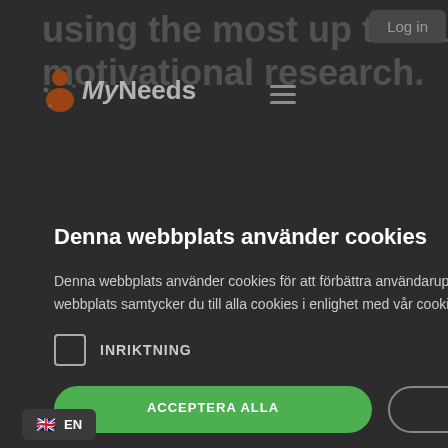[Figure (screenshot): Website header with 'MyNeeds' logo, navigation hamburger menu, 'Log in' button, and background text 'using the most up to date motivational research.']
Denna webbplats använder cookies
Denna webbplats använder cookies för att förbättra användarupplevelsen. Genom att använda vår webbplats samtycker du till alla cookies i enlighet med vår cookiepolicy. Learn more
INRIKTNING
ACCEPTERA ALLA
AVVISA ALLT
VISA DETALJER
POWERED BY COOKIE-SCRIPT
EN